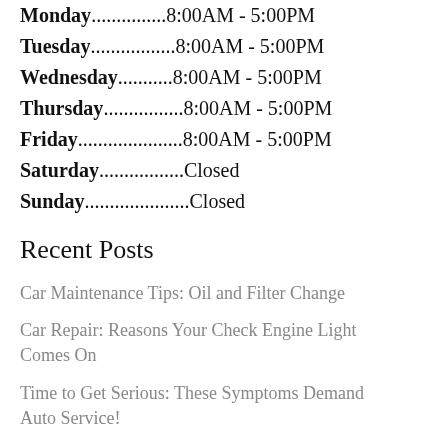Monday..............8:00AM - 5:00PM
Tuesday.................8:00AM - 5:00PM
Wednesday...........8:00AM - 5:00PM
Thursday................8:00AM - 5:00PM
Friday.....................8:00AM - 5:00PM
Saturday.................Closed
Sunday....................Closed
Recent Posts
Car Maintenance Tips: Oil and Filter Change
Car Repair: Reasons Your Check Engine Light Comes On
Time to Get Serious: These Symptoms Demand Auto Service!
Three Unignorable Reasons to See Car Mechanics ASAP